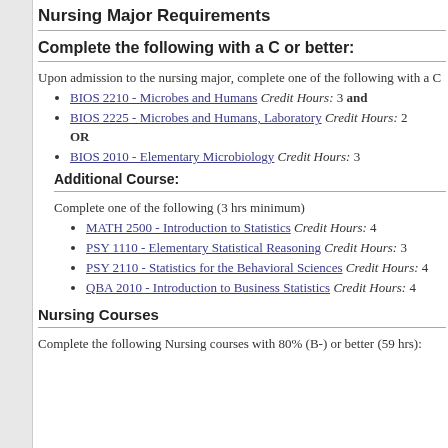Nursing Major Requirements
Complete the following with a C or better:
Upon admission to the nursing major, complete one of the following with a C
BIOS 2210 - Microbes and Humans Credit Hours: 3 and
BIOS 2225 - Microbes and Humans, Laboratory Credit Hours: 2 OR
BIOS 2010 - Elementary Microbiology Credit Hours: 3
Additional Course:
Complete one of the following (3 hrs minimum)
MATH 2500 - Introduction to Statistics Credit Hours: 4
PSY 1110 - Elementary Statistical Reasoning Credit Hours: 3
PSY 2110 - Statistics for the Behavioral Sciences Credit Hours: 4
QBA 2010 - Introduction to Business Statistics Credit Hours: 4
Nursing Courses
Complete the following Nursing courses with 80% (B-) or better (59 hrs):